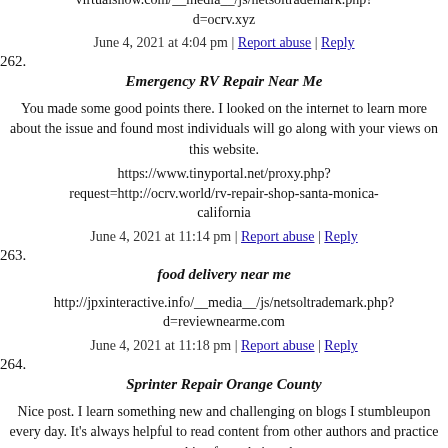virtualshow.com/__media__/js/netsoltrademark.php?d=ocrv.xyz
June 4, 2021 at 4:04 pm | Report abuse | Reply
262. Emergency RV Repair Near Me
You made some good points there. I looked on the internet to learn more about the issue and found most individuals will go along with your views on this website.
https://www.tinyportal.net/proxy.php?request=http://ocrv.world/rv-repair-shop-santa-monica-california
June 4, 2021 at 11:14 pm | Report abuse | Reply
263. food delivery near me
http://jpxinteractive.info/__media__/js/netsoltrademark.php?d=reviewnearme.com
June 4, 2021 at 11:18 pm | Report abuse | Reply
264. Sprinter Repair Orange County
Nice post. I learn something new and challenging on blogs I stumbleupon every day. It's always helpful to read content from other authors and practice something from their web